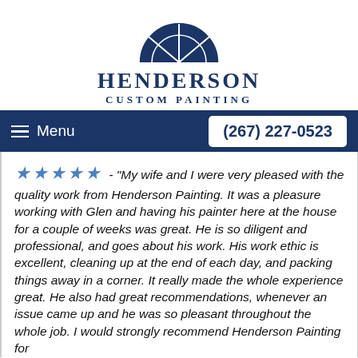[Figure (logo): Henderson Custom Painting logo: dark navy blue semicircular arch/fanlight window shape above company name text]
HENDERSON
CUSTOM PAINTING
Menu   (267) 227-0523
★★★★★ - "My wife and I were very pleased with the quality work from Henderson Painting.  It was a pleasure working with Glen and having his painter here at the house for a couple of weeks was great.  He is so diligent and professional, and goes about his work.  His work ethic is excellent, cleaning up at the end of each day, and packing things away in a corner.  It really made the whole experience great.  He also had great recommendations, whenever an issue came up and he was so pleasant throughout the whole job.  I would strongly recommend Henderson Painting for